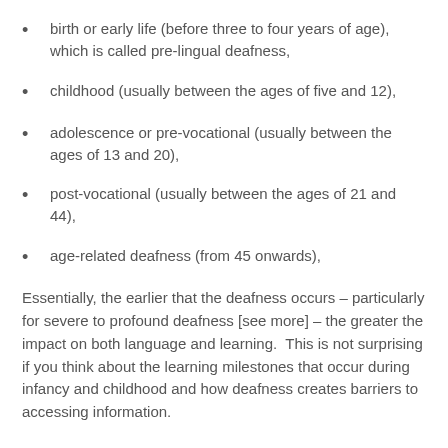birth or early life (before three to four years of age), which is called pre-lingual deafness,
childhood (usually between the ages of five and 12),
adolescence or pre-vocational (usually between the ages of 13 and 20),
post-vocational (usually between the ages of 21 and 44),
age-related deafness (from 45 onwards),
Essentially, the earlier that the deafness occurs – particularly for severe to profound deafness [see more] – the greater the impact on both language and learning.  This is not surprising if you think about the learning milestones that occur during infancy and childhood and how deafness creates barriers to accessing information.